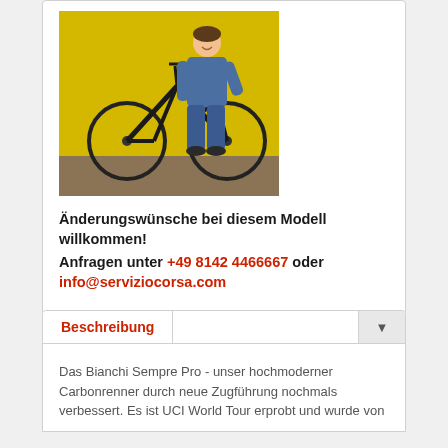[Figure (photo): Man posing with a black road bicycle in front of a yellow wall]
Änderungswünsche bei diesem Modell willkommen!
Anfragen unter +49 8142 4466667 oder info@serviziocorsa.com
Beschreibung
Das Bianchi Sempre Pro - unser hochmoderner Carbonrenner durch neue Zugführung nochmals verbessert. Es ist UCI World Tour erprobt und wurde von